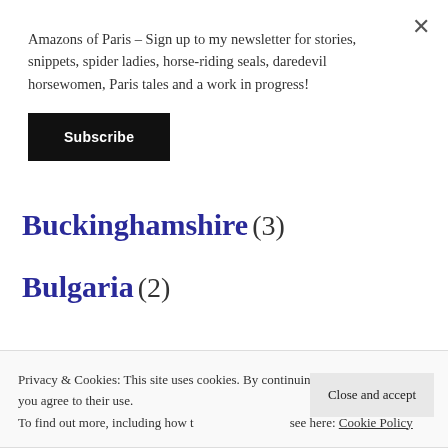Amazons of Paris – Sign up to my newsletter for stories, snippets, spider ladies, horse-riding seals, daredevil horsewomen, Paris tales and a work in progress!
Subscribe
Brumbies (3)
Buckinghamshire (3)
Bulgaria (2)
Privacy & Cookies: This site uses cookies. By continuing to use this website, you agree to their use. To find out more, including how to control cookies, see here: Cookie Policy
Close and accept